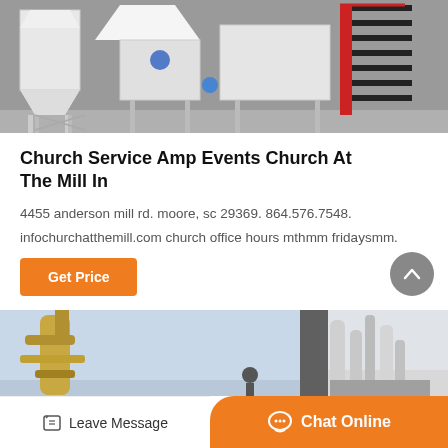[Figure (photo): Industrial milling equipment with white silos, conveyor structures, and red metal staircase on a grey background]
Church Service Amp Events Church At The Mill In
4455 anderson mill rd. moore, sc 29369. 864.576.7548.
infochurchatthemill.com church office hours mthmm fridaysmm.
Get Price
[Figure (photo): Industrial dust collection equipment and machinery outdoors, with cylindrical structures and pipes against a light sky]
Leave Message
Chat Online